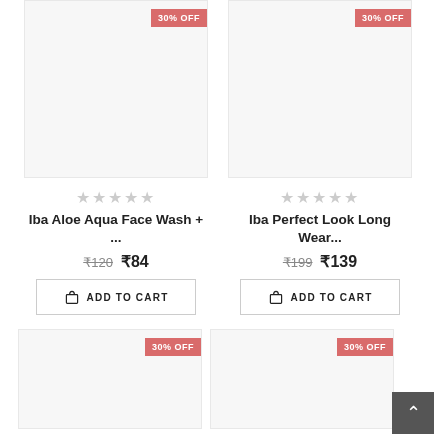[Figure (photo): Product image placeholder with 30% OFF badge - Iba Aloe Aqua Face Wash]
[Figure (photo): Product image placeholder with 30% OFF badge - Iba Perfect Look Long Wear]
★★★★★
Iba Aloe Aqua Face Wash + ...
₹120 ₹84
ADD TO CART
★★★★★
Iba Perfect Look Long Wear...
₹199 ₹139
ADD TO CART
[Figure (photo): Product image placeholder with 30% OFF badge - bottom left]
[Figure (photo): Product image placeholder with 30% OFF badge - bottom right]